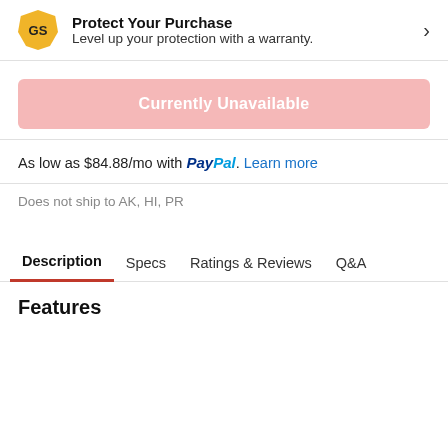Protect Your Purchase
Level up your protection with a warranty.
Currently Unavailable
As low as $84.88/mo with PayPal. Learn more
Does not ship to AK, HI, PR
Description  Specs  Ratings & Reviews  Q&A
Features